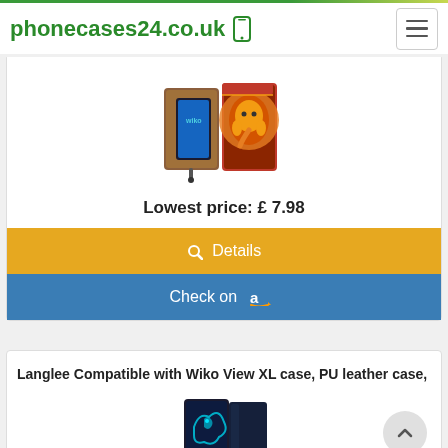phonecases24.co.uk
[Figure (photo): Phone case product image - decorative wallet case with mandala/elephant design, shown open with phone inside and strap]
Lowest price: £ 7.98
Details
Check on Amazon
Langlee Compatible with Wiko View XL case, PU leather case,
[Figure (photo): Phone case product image - dark wallet case with blue dragon design]